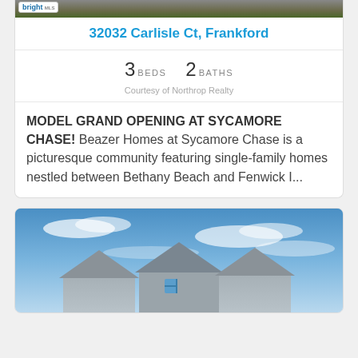[Figure (photo): Exterior photo of property with green grass visible, bright MLS logo in top-left corner]
32032 Carlisle Ct, Frankford
3 BEDS  2 BATHS
Courtesy of Northrop Realty
MODEL GRAND OPENING AT SYCAMORE CHASE! Beazer Homes at Sycamore Chase is a picturesque community featuring single-family homes nestled between Bethany Beach and Fenwick I...
[Figure (photo): Exterior photo of a house with grey roof peaks against a blue sky with clouds]